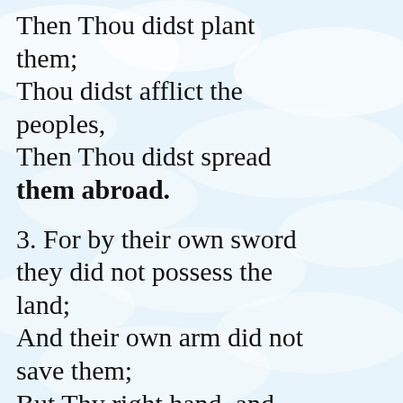Then Thou didst plant them;
Thou didst afflict the peoples,
Then Thou didst spread them abroad.
3. For by their own sword they did not possess the land;
And their own arm did not save them;
But Thy right hand, and